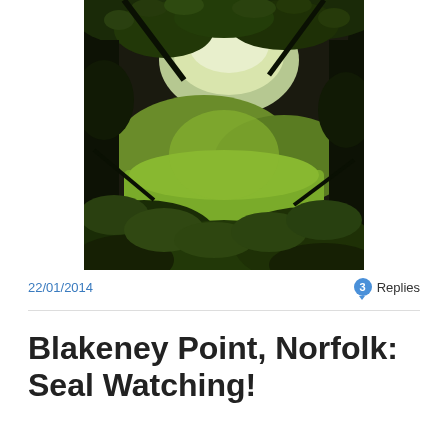[Figure (photo): Photograph viewed through dark tree foliage framing a sunlit green hillside and meadow landscape, taken from within a woodland.]
22/01/2014
3 Replies
Blakeney Point, Norfolk: Seal Watching!